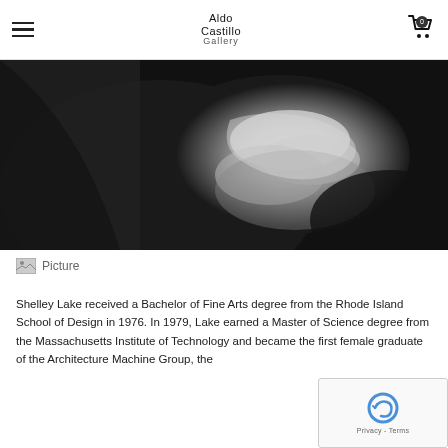Aldo Castillo Gallery
[Figure (photo): Black and white photograph of clasped/folded hands against dark background]
[Figure (illustration): Small picture icon with label 'Picture']
Shelley Lake received a Bachelor of Fine Arts degree from the Rhode Island School of Design in 1976. In 1979, Lake earned a Master of Science degree from the Massachusetts Institute of Technology and became the first female graduate of the Architecture Machine Group, the